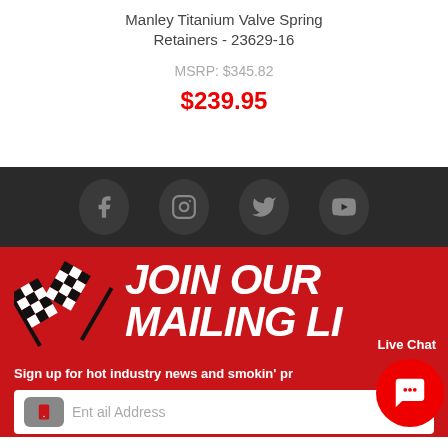Manley Titanium Valve Spring Retainers - 23629-16
MSRP: $345.82
$239.95
[Figure (screenshot): Social media icons bar: Facebook, Instagram, Twitter, YouTube on dark background]
[Figure (illustration): JOIN OUR MAILING LIST banner with checkered flags, sign up text, and email input field on red background]